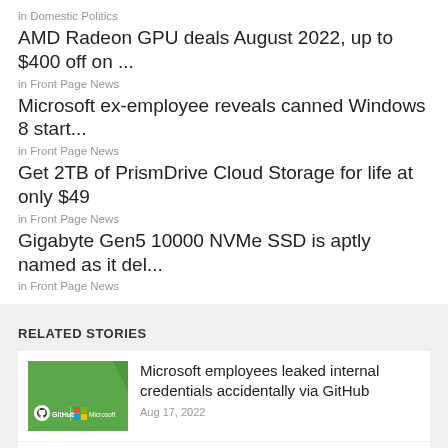in Domestic Politics
AMD Radeon GPU deals August 2022, up to $400 off on ...
in Front Page News
Microsoft ex-employee reveals canned Windows 8 start...
in Front Page News
Get 2TB of PrismDrive Cloud Storage for life at only $49
in Front Page News
Gigabyte Gen5 10000 NVMe SSD is aptly named as it del...
in Front Page News
RELATED STORIES
Microsoft employees leaked internal credentials accidentally via GitHub
Aug 17, 2022
Another video of the alleged white Xbox Elite Controller surfaces